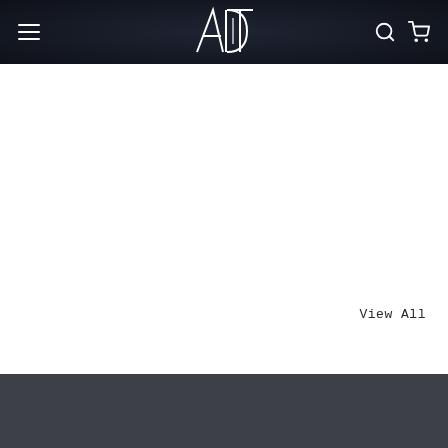ADT logo navigation with menu, search, and cart icons
View All